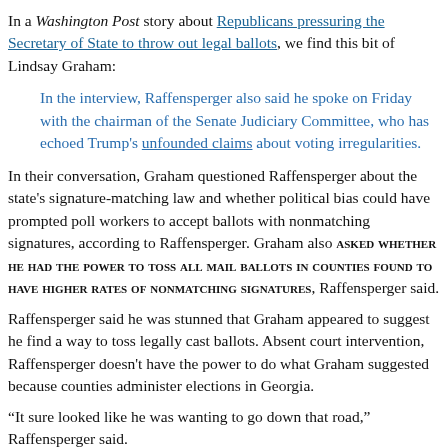In a Washington Post story about Republicans pressuring the Secretary of State to throw out legal ballots, we find this bit of Lindsay Graham:
In the interview, Raffensperger also said he spoke on Friday with the chairman of the Senate Judiciary Committee, who has echoed Trump's unfounded claims about voting irregularities.
In their conversation, Graham questioned Raffensperger about the state's signature-matching law and whether political bias could have prompted poll workers to accept ballots with nonmatching signatures, according to Raffensperger. Graham also ASKED WHETHER HE HAD THE POWER TO TOSS ALL MAIL BALLOTS IN COUNTIES FOUND TO HAVE HIGHER RATES OF NONMATCHING SIGNATURES, Raffensperger said.
Raffensperger said he was stunned that Graham appeared to suggest he find a way to toss legally cast ballots. Absent court intervention, Raffensperger doesn't have the power to do what Graham suggested because counties administer elections in Georgia.
“It sure looked like he was wanting to go down that road,” Raffensperger said.
(emphasis mine)